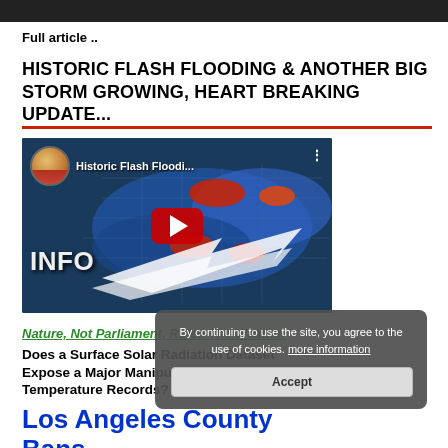Full article ..
HISTORIC FLASH FLOODING & ANOTHER BIG STORM GROWING, HEART BREAKING UPDATE...
[Figure (screenshot): YouTube video thumbnail for 'Historic Flash Floodi...' showing a weather map of the US with red storm markers, blue precipitation overlay, INFO text overlay, and a red YouTube play button in the center. A circular avatar of a person in a colorful hoodie is in the top left.]
Nature, Not Parliament, Rules The Weather
Does a Surface Solar Radiation Dataset Expose a Major Manipulation of Global Temperature Records?
Los Angeles County Bans